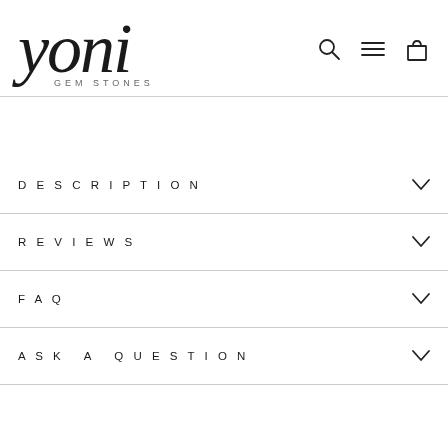[Figure (logo): Yoni Gem Stones logo with cursive script 'Yoni' and 'GEM STONES' tagline below, plus navigation icons (search, menu, cart) on the right]
DESCRIPTION
REVIEWS
FAQ
ASK A QUESTION